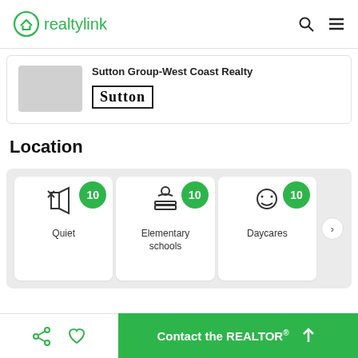realtylink
Sutton Group-West Coast Realty
[Figure (logo): Sutton brand logo in serif font with border]
Location
[Figure (infographic): Three location cards: Quiet (score 10), Elementary schools (score 10), Daycares (score 10)]
Contact the REALTOR®